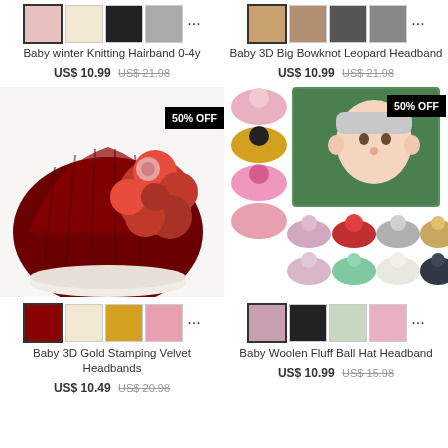[Figure (photo): Product thumbnail row for Baby winter Knitting Hairband]
Baby winter Knitting Hairband 0-4y
US$ 10.99 US$ 21.98
[Figure (photo): Product thumbnail row for Baby 3D Big Bowknot Leopard Headband]
Baby 3D Big Bowknot Leopard Headband
US$ 10.99 US$ 21.98
[Figure (photo): Baby 3D Gold Stamping Velvet Headbands product image with 50% OFF badge, dark red turban hat with large red flower]
[Figure (photo): Baby Woolen Fluff Ball Hat Headband product image with 50% OFF badge, collage of colorful pompom hats and baby photo]
[Figure (photo): Product thumbnail row for Baby 3D Gold Stamping Velvet Headbands]
Baby 3D Gold Stamping Velvet Headbands
US$ 10.49 US$ 20.98
[Figure (photo): Product thumbnail row for Baby Woolen Fluff Ball Hat Headband]
Baby Woolen Fluff Ball Hat Headband
US$ 10.99 US$ 15.98